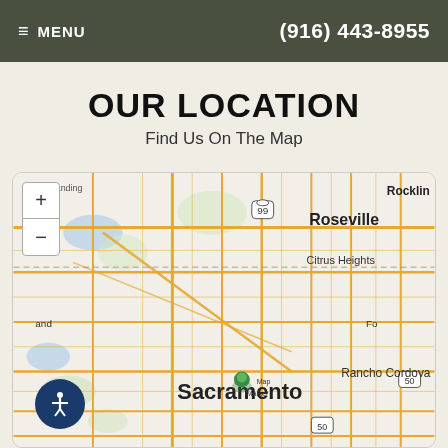≡ MENU | (916) 443-8955
OUR LOCATION
Find Us On The Map
[Figure (map): Interactive map showing Sacramento area including Roseville, Rocklin, Citrus Heights, Rancho Cordova. Map marker and popup indicate location at 2627 K St, Sacramento, CA, 95816, United States. Zoom controls (+/-) visible on left side. Accessibility button at bottom left.]